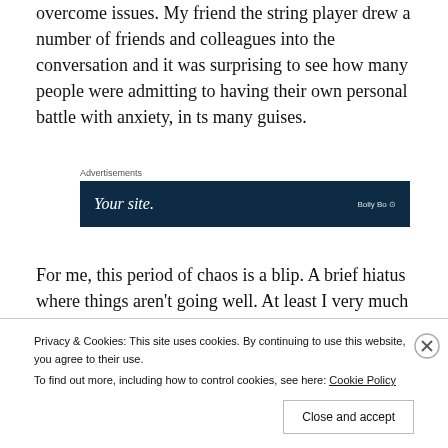overcome issues. My friend the string player drew a number of friends and colleagues into the conversation and it was surprising to see how many people were admitting to having their own personal battle with anxiety, in ts many guises.
[Figure (other): Advertisement banner with dark navy background showing 'Your site.' text and a logo on the right side.]
For me, this period of chaos is a blip. A brief hiatus where things aren't going well. At least I very much
Privacy & Cookies: This site uses cookies. By continuing to use this website, you agree to their use.
To find out more, including how to control cookies, see here: Cookie Policy
Close and accept